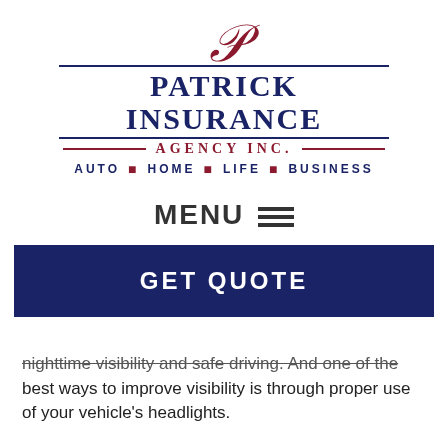[Figure (logo): Patrick Insurance Agency Inc. logo with decorative P monogram in crimson, company name in navy blue, agency tagline in crimson with double lines, and services listed: AUTO, HOME, LIFE, BUSINESS]
MENU ☰
GET QUOTE
nighttime visibility and safe driving. And one of the best ways to improve visibility is through proper use of your vehicle's headlights.